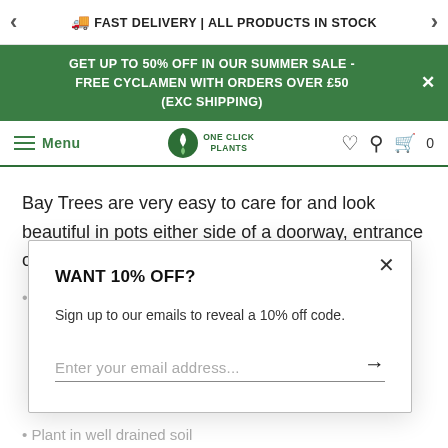🚚 FAST DELIVERY | ALL PRODUCTS IN STOCK
GET UP TO 50% OFF IN OUR SUMMER SALE - FREE CYCLAMEN WITH ORDERS OVER £50 (EXC SHIPPING)
Menu | One Click Plants | 0
Bay Trees are very easy to care for and look beautiful in pots either side of a doorway, entrance of pathway! Dark green evergreen foliage.
WANT 10% OFF?
Sign up to our emails to reveal a 10% off code.
Enter your email address...
Plant in well drained soil